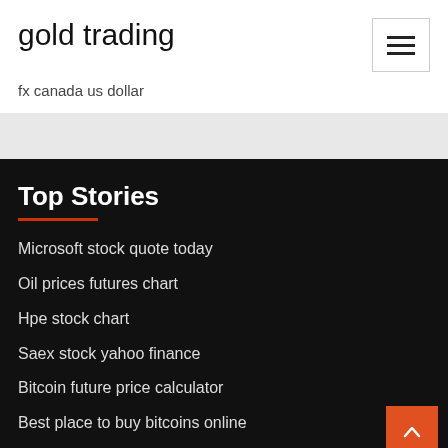gold trading
fx canada us dollar
Top Stories
Microsoft stock quote today
Oil prices futures chart
Hpe stock chart
Saex stock yahoo finance
Bitcoin future price calculator
Best place to buy bitcoins online